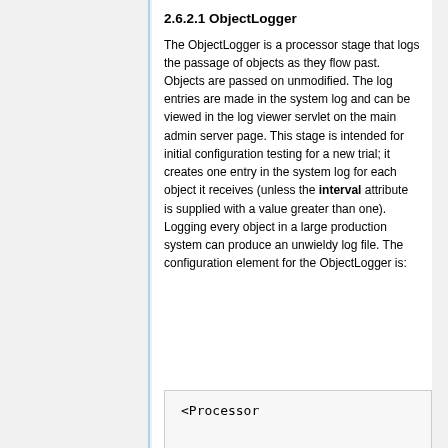2.6.2.1 ObjectLogger
The ObjectLogger is a processor stage that logs the passage of objects as they flow past. Objects are passed on unmodified. The log entries are made in the system log and can be viewed in the log viewer servlet on the main admin server page. This stage is intended for initial configuration testing for a new trial; it creates one entry in the system log for each object it receives (unless the interval attribute is supplied with a value greater than one). Logging every object in a large production system can produce an unwieldy log file. The configuration element for the ObjectLogger is:
<Processor